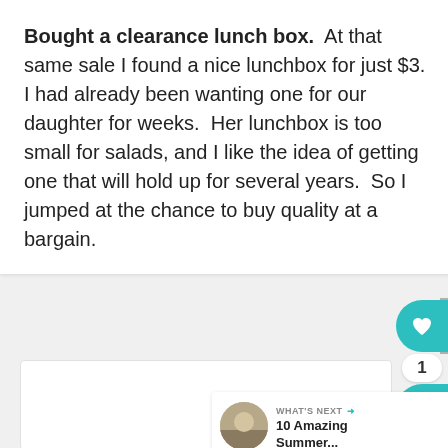Bought a clearance lunch box.  At that same sale I found a nice lunchbox for just $3.  I had already been wanting one for our daughter for weeks.  Her lunchbox is too small for salads, and I like the idea of getting one that will hold up for several years.  So I jumped at the chance to buy quality at a bargain.
[Figure (screenshot): UI overlay with heart/like button (teal, count=1), share button (teal), and a 'What's Next' recommendation bar showing '10 Amazing Summer...' with a thumbnail image.]